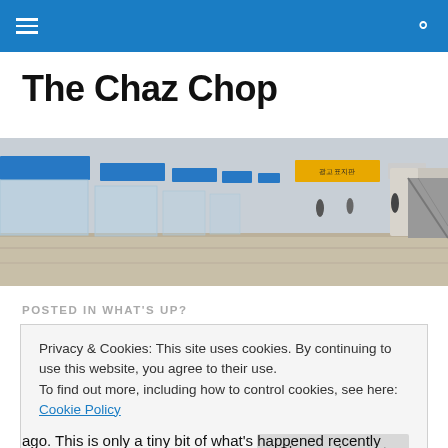The Chaz Chop – navigation bar
The Chaz Chop
[Figure (photo): Interior of a metro/subway station platform with blue platform screen doors, overhead signage in Korean and English, a long corridor with pillars, and an escalator on the right side.]
POSTED IN WHAT'S UP?
Privacy & Cookies: This site uses cookies. By continuing to use this website, you agree to their use.
To find out more, including how to control cookies, see here: Cookie Policy
ago. This is only a tiny bit of what's happened recently